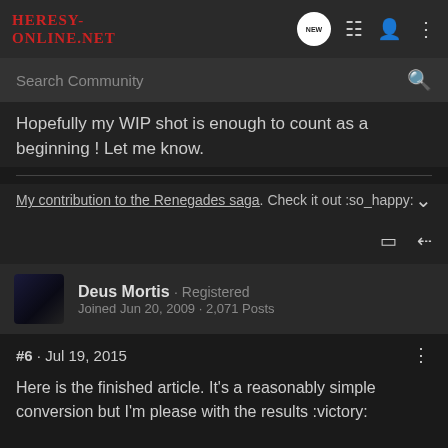Heresy-Online.net
Hopefully my WIP shot is enough to count as a beginning ! Let me know.
My contribution to the Renegades saga. Check it out :so_happy:
Deus Mortis · Registered
Joined Jun 20, 2009 · 2,071 Posts
#6 · Jul 19, 2015
Here is the finished article. It's a reasonably simple conversion but I'm please with the results :victory: